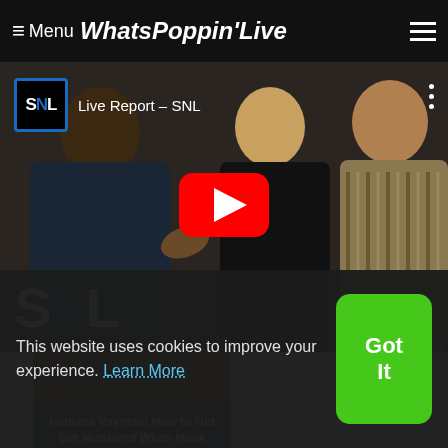≡ Menu WhatsPoppinʼLive
[Figure (screenshot): YouTube video embed showing SNL Live Report with three people standing, large red YouTube play button in center, SNL logo top-left and bottom-left of video frame]
[Figure (photo): Thumbnail of person in green face paint with card text: Natasha Vaynblat How to Not Get Murdered When Hook]
Natasha Vaynblat How to Not Get Murdered When Hook
This website uses cookies to improve your experience. Learn More
Got It